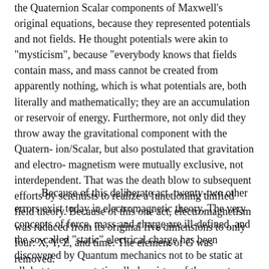the Quaternion Scalar components of Maxwell's original equations, because they represented potentials and not fields. He thought potentials were akin to "mysticism", because "everybody knows that fields contain mass, and mass cannot be created from apparently nothing, which is what potentials are, both literally and mathematically; they are an accumulation or reservoir of energy. Furthermore, not only did they throw away the gravitational component with the Quatern- ion/Scalar, but also postulated that gravitation and electro- magnetism were mutually exclusive, not interdependent. That was the death blow to subsequent efforts by scientists to realize a functioning unified field theory. Because of this one act, electromagnetism was reduced from its original five dimensions to only four: X, Y, Z, and time. The element of G was removed.
Because of this deliberate act, twenty-two other errors exist today in electromagnetic theory. The very concepts of force, mass and charge are ill-defined, and the so-called "static" electrical charge has been discovered by Quantum mechanics not to be static at all, but to move rotationally by virtue of the quantum mechanical spin. Finally, adding insult to injury, the so-called "imaginary components" of Maxwells